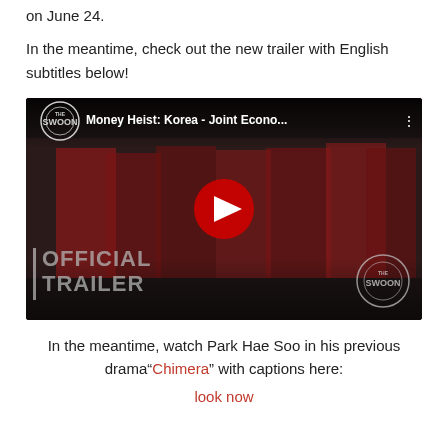on June 24.
In the meantime, check out the new trailer with English subtitles below!
[Figure (screenshot): YouTube video thumbnail for 'Money Heist: Korea - Joint Econo...' showing people in red jumpsuits with The Swoon logo, a red play button, and 'OFFICIAL TRAILER' text overlay.]
In the meantime, watch Park Hae Soo in his previous drama“Chimera” with captions here:
look now